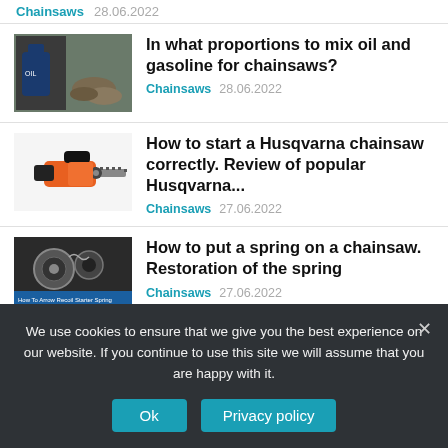Chainsaws   28.06.2022
[Figure (photo): Photo of oil/gasoline mixing for chainsaw]
In what proportions to mix oil and gasoline for chainsaws?
Chainsaws   28.06.2022
[Figure (photo): Photo of an orange Husqvarna chainsaw]
How to start a Husqvarna chainsaw correctly. Review of popular Husqvarna...
Chainsaws   27.06.2022
[Figure (photo): Video thumbnail showing chainsaw spring restoration]
How to put a spring on a chainsaw. Restoration of the spring
Chainsaws   27.06.2022
We use cookies to ensure that we give you the best experience on our website. If you continue to use this site we will assume that you are happy with it.